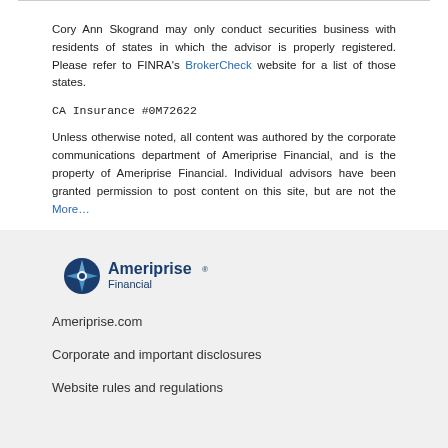Cory Ann Skogrand may only conduct securities business with residents of states in which the advisor is properly registered. Please refer to FINRA's BrokerCheck website for a list of those states.
CA Insurance #0M72622
Unless otherwise noted, all content was authored by the corporate communications department of Ameriprise Financial, and is the property of Ameriprise Financial. Individual advisors have been granted permission to post content on this site, but are not the More…
[Figure (logo): Ameriprise Financial logo with compass rose icon in dark blue]
Ameriprise.com
Corporate and important disclosures
Website rules and regulations